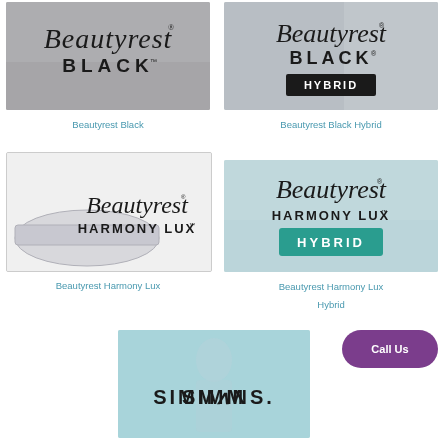[Figure (logo): Beautyrest Black logo on grey bedroom background]
Beautyrest Black
[Figure (logo): Beautyrest Black Hybrid logo on grey bedroom background with black HYBRID badge]
Beautyrest Black Hybrid
[Figure (logo): Beautyrest Harmony Lux logo on white background with mattress image]
Beautyrest Harmony Lux
[Figure (logo): Beautyrest Harmony Lux Hybrid logo on teal/living room background with teal HYBRID badge]
Beautyrest Harmony Lux Hybrid
[Figure (logo): Simmons Charli and Dixie logo on teal background with woman]
Simmons Charli and Dixie